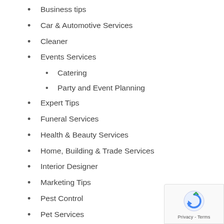Business tips
Car & Automotive Services
Cleaner
Events Services
Catering
Party and Event Planning
Expert Tips
Funeral Services
Health & Beauty Services
Home, Building & Trade Services
Interior Designer
Marketing Tips
Pest Control
Pet Services
Reviews
Testimonials
Travel